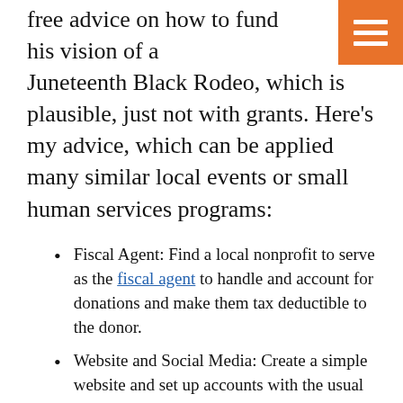free advice on how to fund his vision of a Juneteenth Black Rodeo, which is plausible, just not with grants. Here's my advice, which can be applied many similar local events or small human services programs:
Fiscal Agent: Find a local nonprofit to serve as the fiscal agent to handle and account for donations and make them tax deductible to the donor.
Website and Social Media: Create a simple website and set up accounts with the usual social media suspects. Find a local artist to draw a catchy logo. It should be easy to garner attention for this unique project: who doesn't